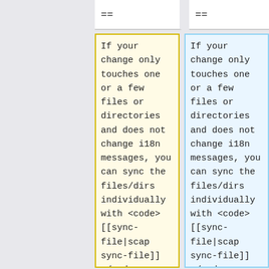==
==
If your change only touches one or a few files or directories and does not change i18n messages, you can sync the files/dirs individually with <code>[[sync-file|scap sync-file]]</code>, rather than
If your change only touches one or a few files or directories and does not change i18n messages, you can sync the files/dirs individually with <code>[[sync-file|scap sync-file]]</code>, rather than